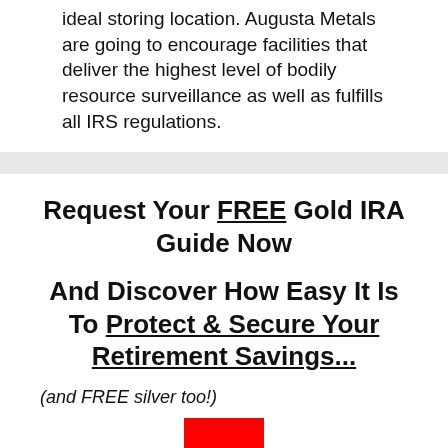ideal storing location. Augusta Metals are going to encourage facilities that deliver the highest level of bodily resource surveillance as well as fulfills all IRS regulations.
Request Your FREE Gold IRA Guide Now
And Discover How Easy It Is To Protect & Secure Your Retirement Savings...
(and FREE silver too!)
[Figure (other): Red button/rectangle at bottom of page]